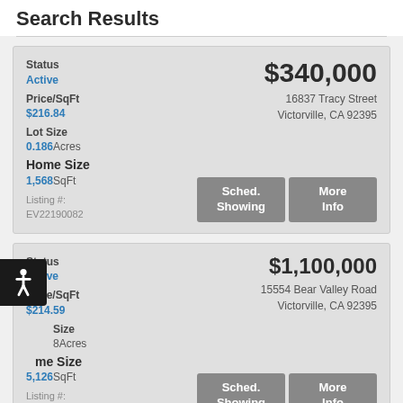Search Results
Status
Active
Price/SqFt
$216.84
Lot Size
0.186 Acres
Home Size
1,568 SqFt
Listing #:
EV22190082
$340,000
16837 Tracy Street
Victorville, CA 92395
Status
Active
Price/SqFt
$214.59
Lot Size
...8Acres
Home Size
5,126 SqFt
Listing #:
UD32894751
$1,100,000
15554 Bear Valley Road
Victorville, CA 92395